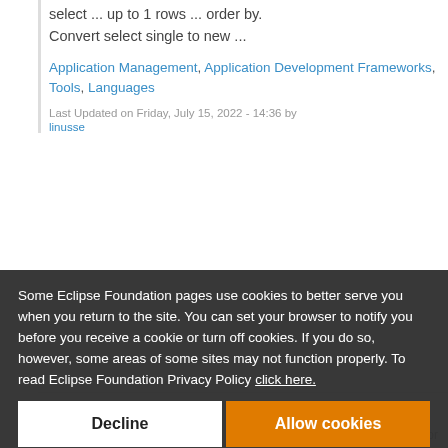select ... up to 1 rows ... order by. Convert select single to new ...
Application Management, Application Development Frameworks, Tools, Languages
Last Updated on Friday, July 15, 2022 - 14:36 by
Some Eclipse Foundation pages use cookies to better serve you when you return to the site. You can set your browser to notify you before you receive a cookie or turn off cookies. If you do so, however, some areas of some sites may not function properly. To read Eclipse Foundation Privacy Policy click here.
Decline
Allow cookies